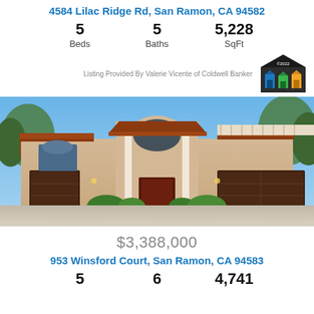4584 Lilac Ridge Rd, San Ramon, CA 94582
5 Beds   5 Baths   5,228 SqFt
Listing Provided By Valerie Vicente of Coldwell Banker
[Figure (photo): Exterior photo of a large two-story stucco home with three-car garage, terracotta roof tiles, arched windows, and a wide concrete driveway. Blue sky with trees visible in background.]
📷 51
$3,388,000
953 Winsford Court, San Ramon, CA 94583
5   6   4,741